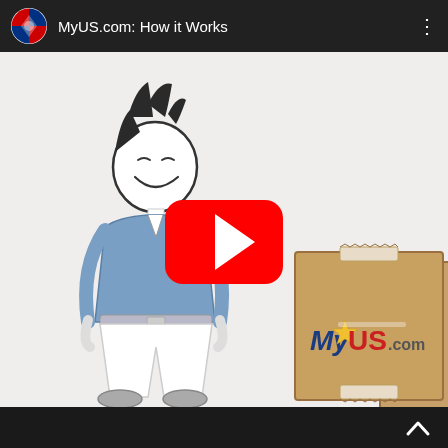[Figure (screenshot): YouTube video embed showing 'MyUS.com: How it Works' with a YouTube logo, title bar, video thumbnail of a cartoon stick figure man next to a MyUS.com branded shipping box, a red YouTube play button overlay in the center, and a black bottom bar with an upward chevron button.]